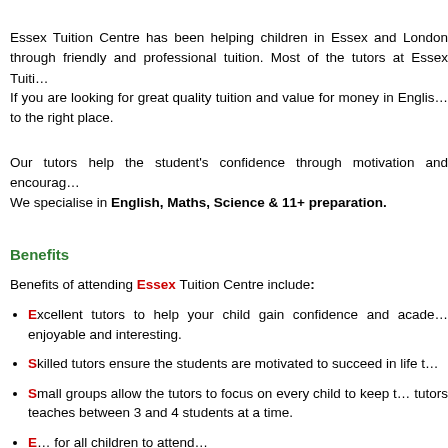Essex Tuition Centre has been helping children in Essex and London through friendly and professional tuition. Most of the tutors at Essex Tuiti…
If you are looking for great quality tuition and value for money in Englis… to the right place.
Our tutors help the student's confidence through motivation and encourag…
We specialise in English, Maths, Science & 11+ preparation.
Benefits
Benefits of attending Essex Tuition Centre include:
Excellent tutors to help your child gain confidence and acade… enjoyable and interesting.
Skilled tutors ensure the students are motivated to succeed in life t…
Small groups allow the tutors to focus on every child to keep t… tutors teaches between 3 and 4 students at a time.
E… for all children to attend…